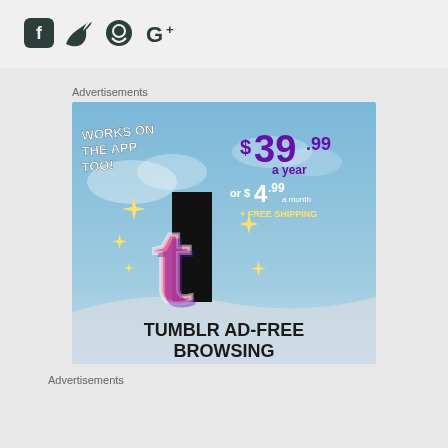[Figure (illustration): Social media icons (Facebook, Twitter, GitHub, Google+) in dark teal color on light gray background]
Advertisements
[Figure (illustration): Tumblr Ad-Free Browsing advertisement. Sky blue background with clouds. Text: WORKS ON THE APP TOO! $39.99 a year or $4.99 a month + FREE SHIPPING. Tumblr 't' logo in pink and purple with sparkle stars. Bottom text: TUMBLR AD-FREE BROWSING]
Advertisements